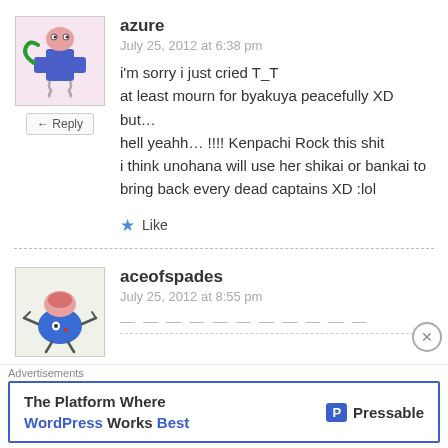[Figure (illustration): Avatar image of a cartoon robot/alien character in pink/blue colors]
azure
July 25, 2012 at 6:38 pm
i'm sorry i just cried T_T
at least mourn for byakuya peacefully XD
but…
hell yeahh… !!!! Kenpachi Rock this shit
i think unohana will use her shikai or bankai to bring back every dead captains XD :lol
★ Like
[Figure (illustration): Avatar image of a cartoon blue oval creature with pink brain on top]
aceofspades
July 25, 2012 at 8:55 pm
Advertisements
The Platform Where WordPress Works Best
[Figure (logo): Pressable logo with blue P icon]